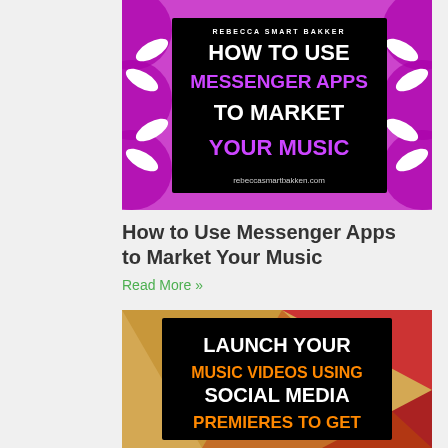[Figure (illustration): Book cover image with purple and white design showing text: REBECCA SMART BAKKER / HOW TO USE MESSENGER APPS TO MARKET YOUR MUSIC / rebeccasmartbakken.com]
How to Use Messenger Apps to Market Your Music
Read More »
[Figure (illustration): Promotional image with geometric colorful background showing text: LAUNCH YOUR MUSIC VIDEOS USING SOCIAL MEDIA PREMIERES TO GET]